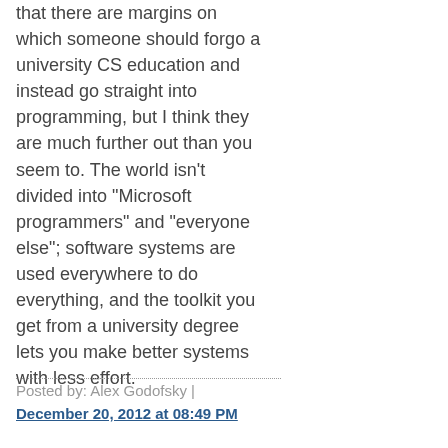that there are margins on which someone should forgo a university CS education and instead go straight into programming, but I think they are much further out than you seem to. The world isn't divided into "Microsoft programmers" and "everyone else"; software systems are used everywhere to do everything, and the toolkit you get from a university degree lets you make better systems with less effort.
Posted by: Alex Godofsky | December 20, 2012 at 08:49 PM